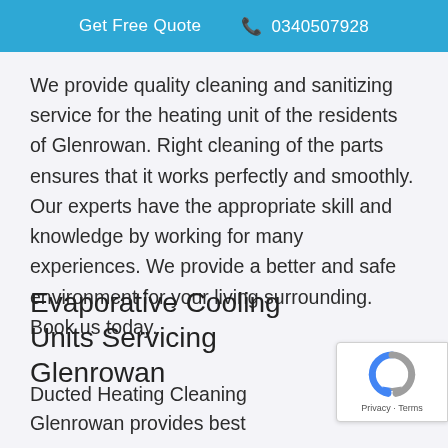Get Free Quote  0340507928
We provide quality cleaning and sanitizing service for the heating unit of the residents of Glenrowan. Right cleaning of the parts ensures that it works perfectly and smoothly. Our experts have the appropriate skill and knowledge by working for many experiences. We provide a better and safe environment for your living surrounding. Book us today.
Evaporative Cooling Units Servicing Glenrowan
Ducted Heating Cleaning Glenrowan provides best